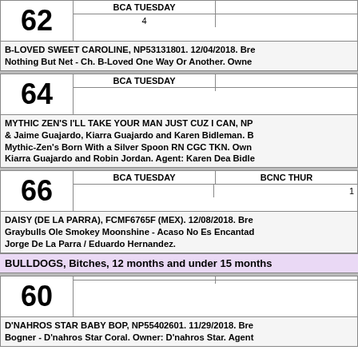| 62 | BCA TUESDAY |  |
| --- | --- | --- |
|  | 4 |  |
B-LOVED SWEET CAROLINE, NP53131801. 12/04/2018. Bre Nothing But Net - Ch. B-Loved One Way Or Another. Owne
| 64 | BCA TUESDAY |  |
| --- | --- | --- |
|  |  |  |
MYTHIC ZEN'S I'LL TAKE YOUR MAN JUST CUZ I CAN, NP & Jaime Guajardo, Kiarra Guajardo and Karen Bidleman. B Mythic-Zen's Born With a Silver Spoon RN CGC TKN. Own Kiarra Guajardo and Robin Jordan. Agent: Karen Dea Bidle
| 66 | BCA TUESDAY | BCNC THUR |
| --- | --- | --- |
|  |  | 1 |
DAISY (DE LA PARRA), FCMF6765F (MEX). 12/08/2018. Bre Graybulls Ole Smokey Moonshine - Acaso No Es Encantad Jorge De La Parra / Eduardo Hernandez.
BULLDOGS, Bitches, 12 months and under 15 months
| 60 |  |  |
| --- | --- | --- |
|  |  |  |
D'NAHROS STAR BABY BOP, NP55402601. 11/29/2018. Bre Bogner - D'nahros Star Coral. Owner: D'nahros Star. Agent